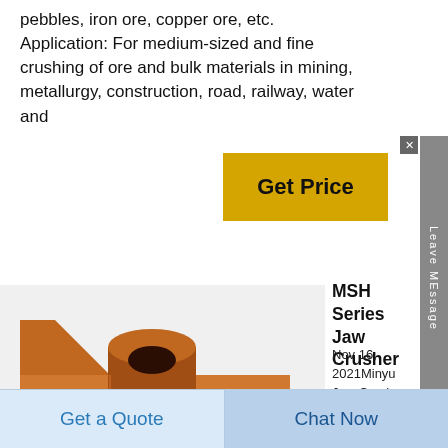pebbles, iron ore, copper ore, etc. Application: For medium-sized and fine crushing of ore and bulk materials in mining, metallurgy, construction, road, railway, water and
[Figure (photo): A copper-colored metal jaw crusher part with angular, stepped geometry shown on a white background.]
MSH Series Jaw Crusher
Nov 16, 2021Minyu Jaw Crushers are configured for primary crushing of the hardest rock.
Incoming material is crushed between the jaw crusher's fixed die plate and movable die plate through advancing
Get a Quote
Chat Now